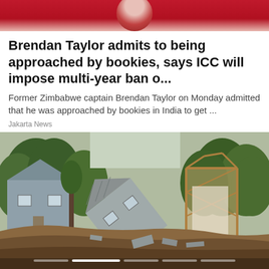[Figure (photo): Partial view of a cricket player in red uniform at top of image]
Brendan Taylor admits to being approached by bookies, says ICC will impose multi-year ban o...
Former Zimbabwe captain Brendan Taylor on Monday admitted that he was approached by bookies in India to get ...
Jakarta News
[Figure (photo): Houses collapsed and tilting due to severe flooding/landslide erosion, with construction frames visible in background surrounded by trees]